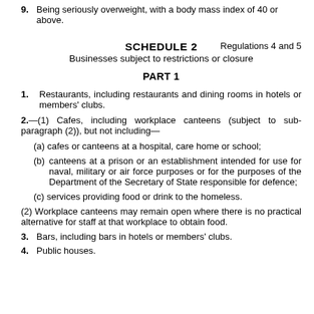9. Being seriously overweight, with a body mass index of 40 or above.
SCHEDULE 2   Regulations 4 and 5
Businesses subject to restrictions or closure
PART 1
1. Restaurants, including restaurants and dining rooms in hotels or members' clubs.
2.—(1) Cafes, including workplace canteens (subject to sub-paragraph (2)), but not including—
(a) cafes or canteens at a hospital, care home or school;
(b) canteens at a prison or an establishment intended for use for naval, military or air force purposes or for the purposes of the Department of the Secretary of State responsible for defence;
(c) services providing food or drink to the homeless.
(2) Workplace canteens may remain open where there is no practical alternative for staff at that workplace to obtain food.
3. Bars, including bars in hotels or members' clubs.
4. Public houses.